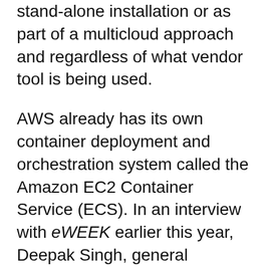stand-alone installation or as part of a multicloud approach and regardless of what vendor tool is being used.
AWS already has its own container deployment and orchestration system called the Amazon EC2 Container Service (ECS). In an interview with eWEEK earlier this year, Deepak Singh, general manager of the ECS offering at Amazon, explained the goals of ECS and how it relates to Amazon's partnership with Docker.
Docker Inc. has its own container orchestration system called Docker Swarm that is competitive with Kubernetes. The